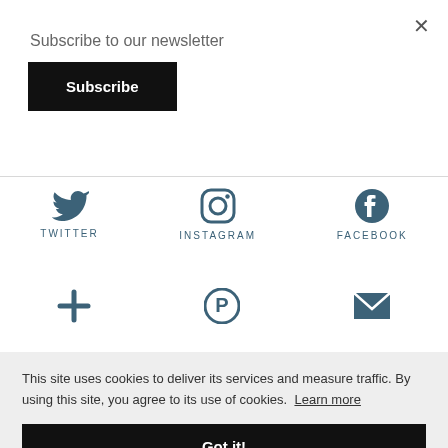Subscribe to our newsletter
Subscribe
[Figure (illustration): Social media icons row: Twitter bird icon, Instagram camera icon, Facebook F icon with labels TWITTER, INSTAGRAM, FACEBOOK below each]
[Figure (illustration): Second row of social icons: plus sign icon, Pinterest P icon, envelope/mail icon]
This site uses cookies to deliver its services and measure traffic. By using this site, you agree to its use of cookies. Learn more
Got it!